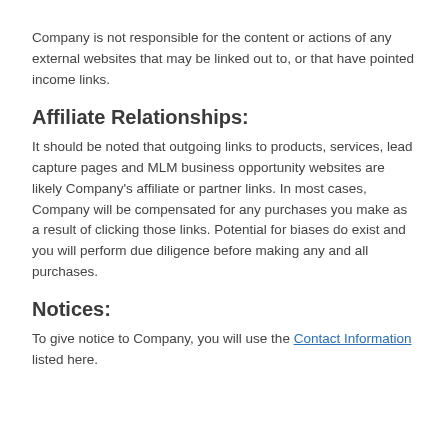Company is not responsible for the content or actions of any external websites that may be linked out to, or that have pointed income links.
Affiliate Relationships:
It should be noted that outgoing links to products, services, lead capture pages and MLM business opportunity websites are likely Company's affiliate or partner links. In most cases, Company will be compensated for any purchases you make as a result of clicking those links. Potential for biases do exist and you will perform due diligence before making any and all purchases.
Notices:
To give notice to Company, you will use the Contact Information listed here.